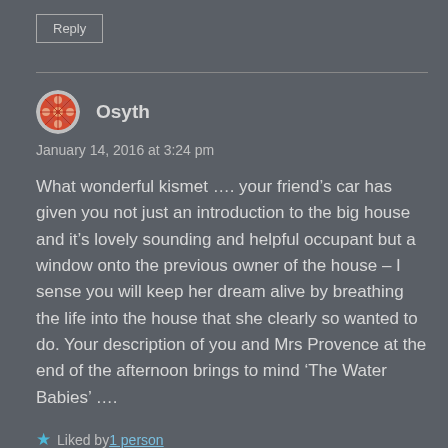Reply
Osyth
January 14, 2016 at 3:24 pm
What wonderful kismet …. your friend’s car has given you not just an introduction to the big house and it’s lovely sounding and helpful occupant but a window onto the previous owner of the house – I sense you will keep her dream alive by breathing the life into the house that she clearly so wanted to do. Your description of you and Mrs Provence at the end of the afternoon brings to mind ‘The Water Babies’ ….
Liked by 1 person